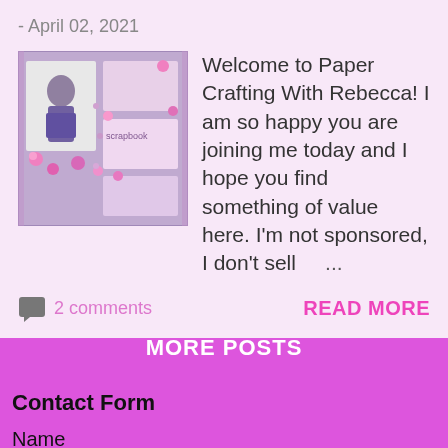- April 02, 2021
[Figure (photo): A scrapbook page with a photo of a child and floral decorations in purple and pink tones]
Welcome to Paper Crafting With Rebecca! I am so happy you are joining me today and I hope you find something of value here. I'm not sponsored, I don't sell ...
2 comments
READ MORE
MORE POSTS
Contact Form
Name